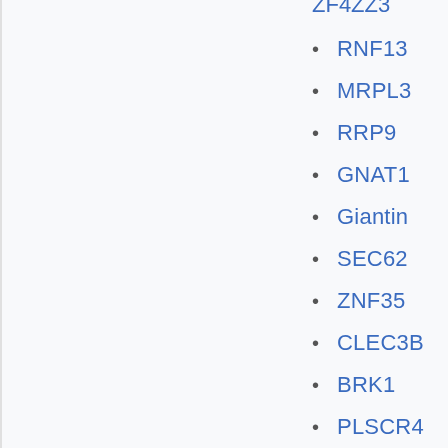RNF13
MRPL3
RRP9
GNAT1
Giantin
SEC62
ZNF35
CLEC3B
BRK1
PLSCR4
DNAJB11
SOX14
COPB2
SLC9A10